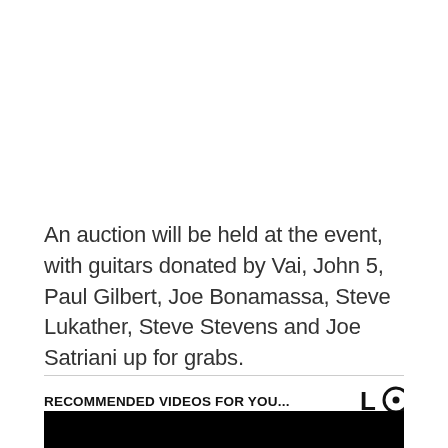An auction will be held at the event, with guitars donated by Vai, John 5, Paul Gilbert, Joe Bonamassa, Steve Lukather, Steve Stevens and Joe Satriani up for grabs.
RECOMMENDED VIDEOS FOR YOU...
[Figure (other): Black video thumbnail area]